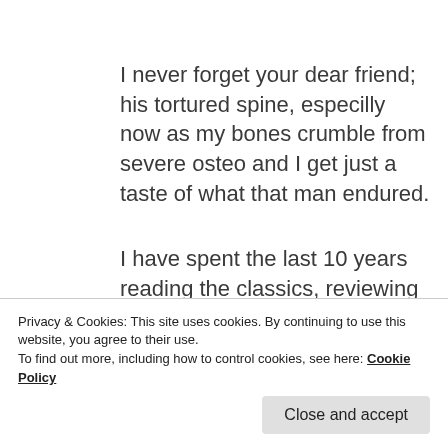I never forget your dear friend; his tortured spine, especilly now as my bones crumble from severe osteo and I get just a taste of what that man endured.
I have spent the last 10 years reading the classics, reviewing for the local paper, becoming a gourmet vege cook (I say I cook
Privacy & Cookies: This site uses cookies. By continuing to use this website, you agree to their use. To find out more, including how to control cookies, see here: Cookie Policy
streaming TV, gaming (Lara